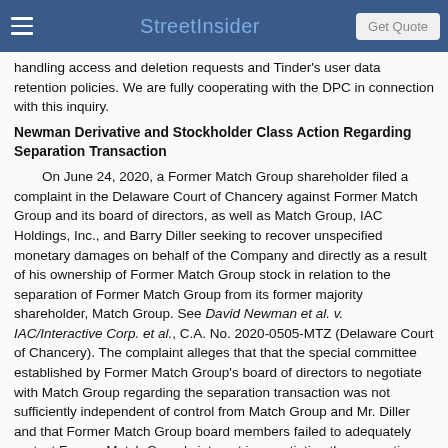StreetInsider
handling access and deletion requests and Tinder's user data retention policies. We are fully cooperating with the DPC in connection with this inquiry.
Newman Derivative and Stockholder Class Action Regarding Separation Transaction
On June 24, 2020, a Former Match Group shareholder filed a complaint in the Delaware Court of Chancery against Former Match Group and its board of directors, as well as Match Group, IAC Holdings, Inc., and Barry Diller seeking to recover unspecified monetary damages on behalf of the Company and directly as a result of his ownership of Former Match Group stock in relation to the separation of Former Match Group from its former majority shareholder, Match Group. See David Newman et al. v. IAC/Interactive Corp. et al., C.A. No. 2020-0505-MTZ (Delaware Court of Chancery). The complaint alleges that that the special committee established by Former Match Group's board of directors to negotiate with Match Group regarding the separation transaction was not sufficiently independent of control from Match Group and Mr. Diller and that Former Match Group board members failed to adequately protect Former Match Group's interest in negotiating the separation transaction, which resulted in a transaction that was unfair to Former Match Group and its shareholders. On January 21, 2021, the case was consolidated with other shareholder actions, and an amended complaint was filed on April 14, 2021. See In Re Match Group, Inc.